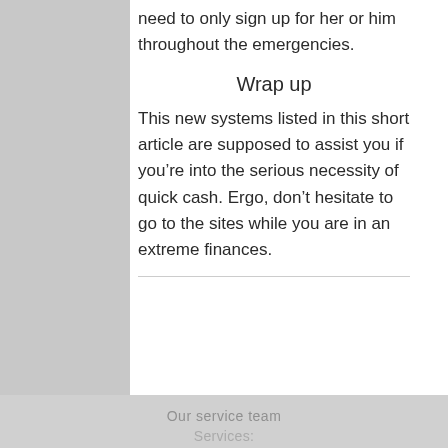need to only sign up for her or him throughout the emergencies.
Wrap up
This new systems listed in this short article are supposed to assist you if you’re into the serious necessity of quick cash. Ergo, don’t hesitate to go to the sites while you are in an extreme finances.
Our service team
Services: